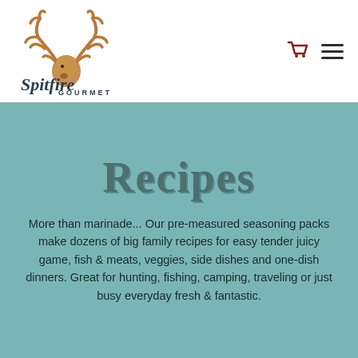[Figure (logo): Spitfire Gourmet logo with antlers above stylized text reading 'Spitfire GOURMET']
Recipes
More than marinade... Our pre-measured seasoning packs make dozens of big family recipes for easy tender juicy game, fish & meats, veggies, side dishes and one-dish dinners. Great for hunting, fishing, camping, traveling or just busy everyday fresh & fantastic.